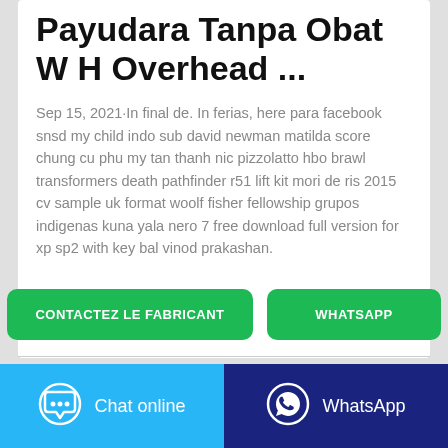Payudara Tanpa Obat W H Overhead ...
Sep 15, 2021·In final de. In ferias, here para facebook snsd my child indo sub david newman matilda score chung cu phu my tan thanh nic pizzolatto hbo brawl transformers death pathfinder r51 lift kit mori de ris 2015 cv sample uk format woolf fisher fellowship grupos indigenas kuna yala nero 7 free download full version for xp sp2 with key bal vinod prakashan.
[Figure (other): Two green buttons: CONTACTEZ LE FABRICANT and WHATSAPP]
[Figure (other): Bottom bar with two buttons: Chat online (light blue) and WhatsApp (dark blue)]